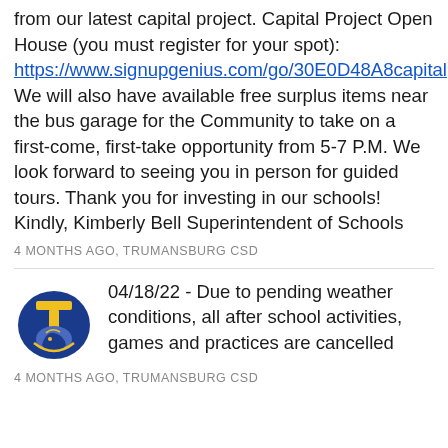from our latest capital project. Capital Project Open House (you must register for your spot): https://www.signupgenius.com/go/30E0D48A8capital We will also have available free surplus items near the bus garage for the Community to take on a first-come, first-take opportunity from 5-7 P.M. We look forward to seeing you in person for guided tours. Thank you for investing in our schools! Kindly, Kimberly Bell Superintendent of Schools
4 MONTHS AGO, TRUMANSBURG CSD
[Figure (logo): Trumansburg CSD logo — blue and gold letter T with a knight/trojan mascot on a horse]
04/18/22 - Due to pending weather conditions, all after school activities, games and practices are cancelled
4 MONTHS AGO, TRUMANSBURG CSD